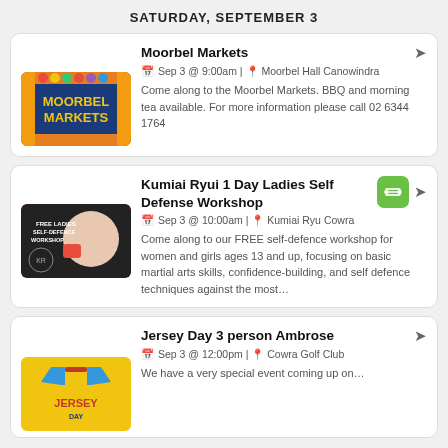SATURDAY, SEPTEMBER 3
Moorbel Markets
Sep 3 @ 9:00am | Moorbel Hall Canowindra
Come along to the Moorbel Markets. BBQ and morning tea available. For more information please call 02 6344 1764
Kumiai Ryui 1 Day Ladies Self Defense Workshop
Sep 3 @ 10:00am | Kumiai Ryu Cowra
Come along to our FREE self-defence workshop for women and girls ages 13 and up, focusing on basic martial arts skills, confidence-building, and self defence techniques against the most…
Jersey Day 3 person Ambrose
Sep 3 @ 12:00pm | Cowra Golf Club
We have a very special event coming up on…